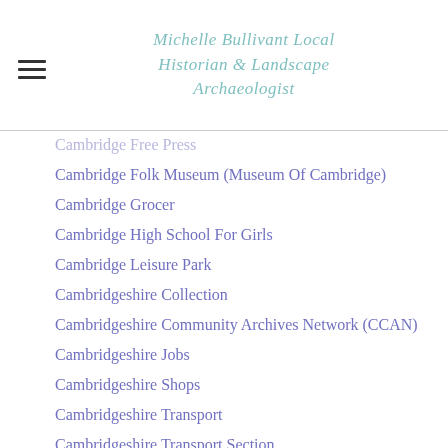Michelle Bullivant Local Historian & Landscape Archaeologist
Cambridge Folk Museum (Museum Of Cambridge)
Cambridge Grocer
Cambridge High School For Girls
Cambridge Leisure Park
Cambridgeshire Collection
Cambridgeshire Community Archives Network (CCAN)
Cambridgeshire Jobs
Cambridgeshire Shops
Cambridgeshire Transport
Cambridgeshire Transport Section
Cambridge Town Council
Cambridge University
Cambridge University Press
Cambridge University WWII
Cambridge WWI
Cambridge WWII
Camkin Road Cambridge